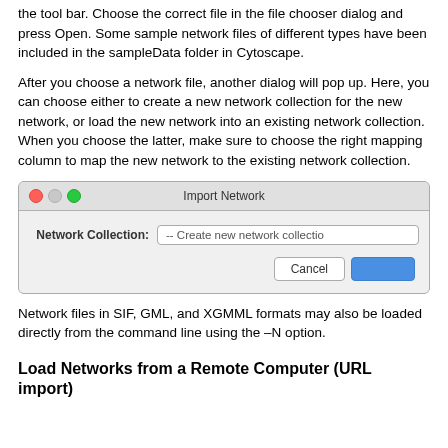the tool bar. Choose the correct file in the file chooser dialog and press Open. Some sample network files of different types have been included in the sampleData folder in Cytoscape.
After you choose a network file, another dialog will pop up. Here, you can choose either to create a new network collection for the new network, or load the new network into an existing network collection. When you choose the latter, make sure to choose the right mapping column to map the new network to the existing network collection.
[Figure (screenshot): Import Network dialog box showing Network Collection field with '-- Create new network collection' option and Cancel button]
Network files in SIF, GML, and XGMML formats may also be loaded directly from the command line using the –N option.
Load Networks from a Remote Computer (URL import)